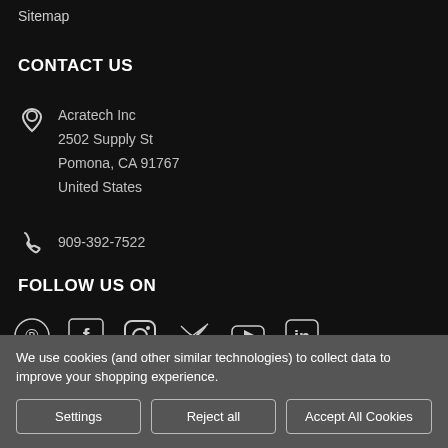Sitemap
CONTACT US
Acratech Inc
2502 Supply St
Pomona, CA 91767
United States
909-392-7522
FOLLOW US ON
[Figure (infographic): Row of 6 social media icons: Pinterest, Facebook, Instagram, Twitter, YouTube, LinkedIn]
We use cookies (and other similar technologies) to collect data to improve your shopping experience.
Settings  Reject all  Accept All Cookies